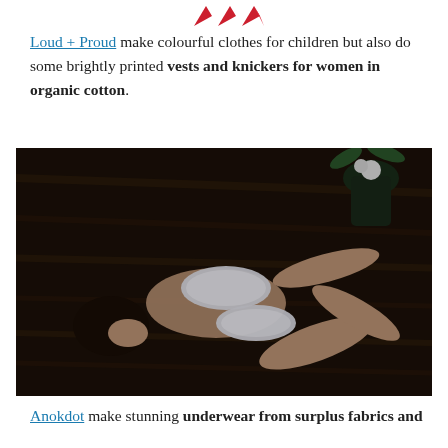[Figure (logo): Red logo mark at top center of page]
Loud + Proud make colourful clothes for children but also do some brightly printed vests and knickers for women in organic cotton.
[Figure (photo): Woman lying on wooden floor wearing white lingerie (bra and underwear), with a vase of flowers visible in the upper right corner. Dark moody lighting.]
Anokdot make stunning underwear from surplus fabrics and